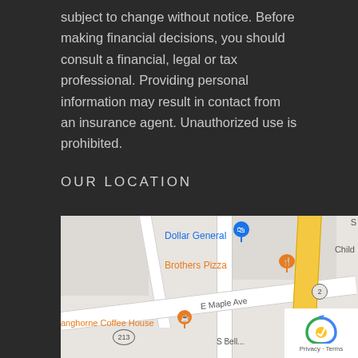subject to change without notice. Before making financial decisions, you should consult a financial, legal or tax professional. Providing personal information may result in contact from an insurance agent. Unauthorized use is prohibited.
OUR LOCATION
[Figure (map): Google Maps view showing location near E Maple Ave, with Dollar General, Brothers Pizza, and Langhorne Coffee House visible as landmarks. Road 213 and 413 labeled.]